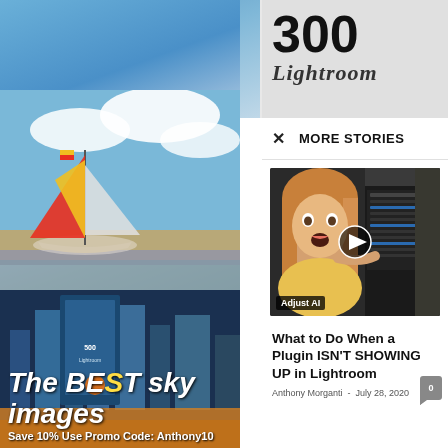[Figure (screenshot): Top background area with partial '300 Lightroom' book/page text visible and sky background]
[Figure (photo): Left column top: sailboat on beach with sky and water background]
[Figure (screenshot): Left column bottom: book cover for 'The BE...' with sunset/city background and promotional text]
× MORE STORIES
[Figure (screenshot): Video thumbnail showing woman with surprised expression pointing at Lightroom/Photoshop software interface with 'Adjust AI' label and play button]
What to Do When a Plugin ISN'T SHOWING UP in Lightroom
Anthony Morganti  -  July 28, 2020
The BE... sky images
Save 10% Use Promo Code: Anthony10